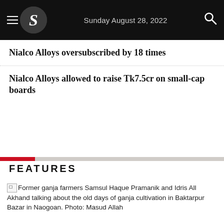S — Sunday August 28, 2022
Nialco Alloys oversubscribed by 18 times
Nialco Alloys allowed to raise Tk7.5cr on small-cap boards
FEATURES
Former ganja farmers Samsul Haque Pramanik and Idris All Akhand talking about the old days of ganja cultivation in Baktarpur Bazar in Naogoan. Photo: Masud Allah